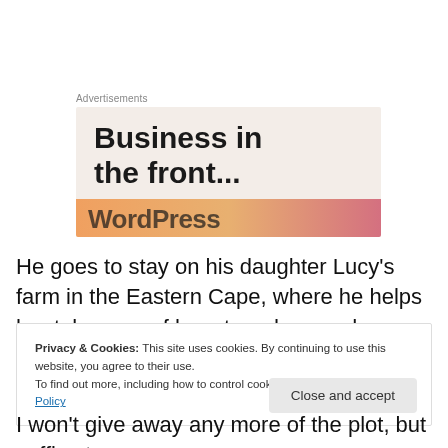Advertisements
[Figure (illustration): Advertisement banner showing 'Business in the front...' text in large bold font on a beige background, with a colorful orange-to-pink gradient bar at the bottom showing partial 'WordPress' text]
He goes to stay on his daughter Lucy’s farm in the Eastern Cape, where he helps her take care of her stray dogs and
Privacy & Cookies: This site uses cookies. By continuing to use this website, you agree to their use.
To find out more, including how to control cookies, see here: Cookie Policy
[Close and accept]
I won’t give away any more of the plot, but suffice to say